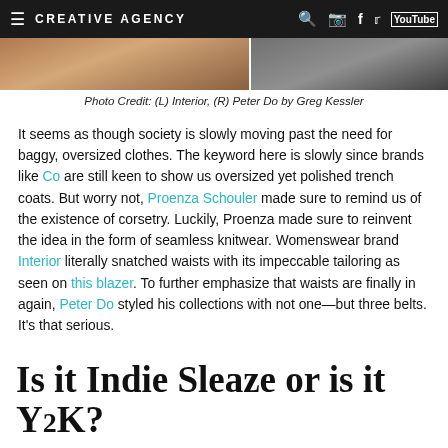CREATIVE AGENCY
[Figure (photo): Two-panel photo strip: left panel shows a person in warm-toned clothing, right panel shows a person in darker tones.]
Photo Credit: (L) Interior, (R) Peter Do by Greg Kessler
It seems as though society is slowly moving past the need for baggy, oversized clothes. The keyword here is slowly since brands like Co are still keen to show us oversized yet polished trench coats. But worry not, Proenza Schouler made sure to remind us of the existence of corsetry. Luckily, Proenza made sure to reinvent the idea in the form of seamless knitwear. Womenswear brand Interior literally snatched waists with its impeccable tailoring as seen on this blazer. To further emphasize that waists are finally in again, Peter Do styled his collections with not one—but three belts. It's that serious.
Is it Indie Sleaze or is it Y2K?